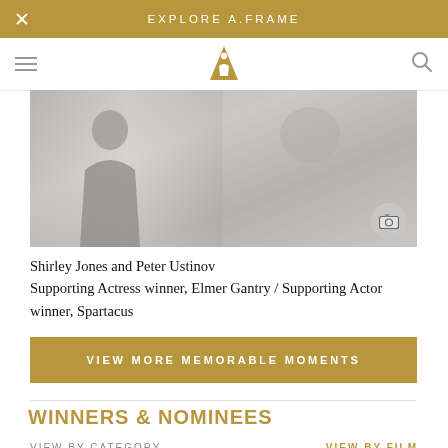EXPLORE A.FRAME
[Figure (photo): Black and white photo of Shirley Jones and Peter Ustinov]
Shirley Jones and Peter Ustinov
Supporting Actress winner, Elmer Gantry / Supporting Actor winner, Spartacus
VIEW MORE MEMORABLE MOMENTS
WINNERS & NOMINEES
VIEW BY CATEGORY
VIEW BY FILM